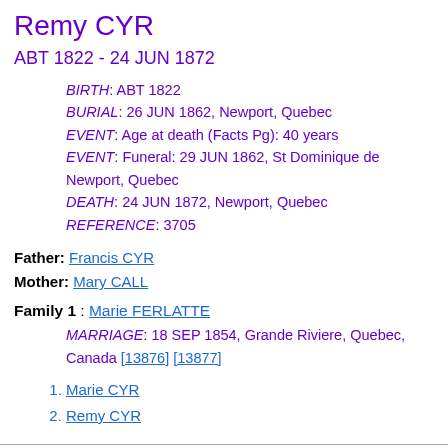Remy CYR
ABT 1822 - 24 JUN 1872
BIRTH: ABT 1822
BURIAL: 26 JUN 1862, Newport, Quebec
EVENT: Age at death (Facts Pg): 40 years
EVENT: Funeral: 29 JUN 1862, St Dominique de Newport, Quebec
DEATH: 24 JUN 1872, Newport, Quebec
REFERENCE: 3705
Father: Francis CYR
Mother: Mary CALL
Family 1 : Marie FERLATTE
MARRIAGE: 18 SEP 1854, Grande Riviere, Quebec, Canada [13876] [13877]
1. Marie CYR
2. Remy CYR